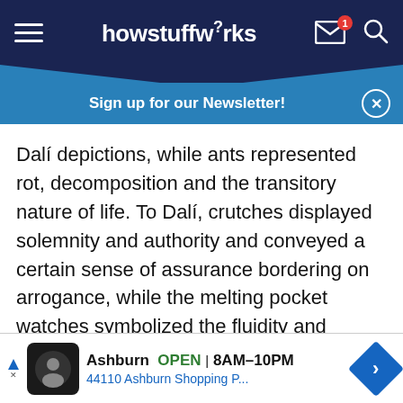howstuffworks
Sign up for our Newsletter!
Dalí depictions, while ants represented rot, decomposition and the transitory nature of life. To Dalí, crutches displayed solemnity and authority and conveyed a certain sense of assurance bordering on arrogance, while the melting pocket watches symbolized the fluidity and relativity of time.
Advertisement
[Figure (other): Gray advertisement placeholder box]
[Figure (other): Bottom ad banner: Ashburn OPEN 8AM–10PM, 44110 Ashburn Shopping P...]